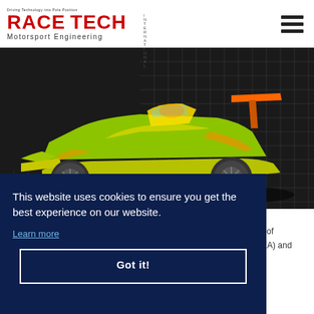[Figure (logo): Race Tech International Motorsport Engineering logo with red bold text and tagline 'Driving Technology into Pole Position']
[Figure (photo): CFD simulation visualization of a formula/sports racing car shown in green-yellow heat map colors against a dark mesh grid background]
This website uses cookies to ensure you get the best experience on our website.
Learn more
r of EA) and
Got it!
VIEW COMPANY